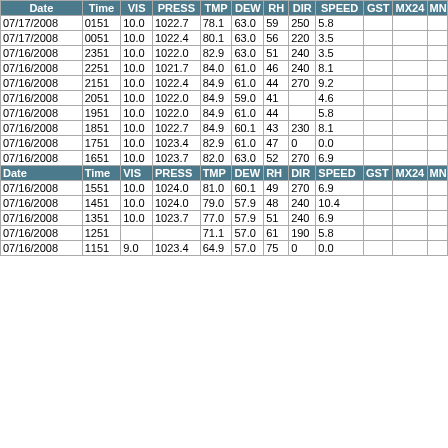| Date | Time | VIS | PRESS | TMP | DEW | RH | DIR | SPEED | GST | MX24 | MN |
| --- | --- | --- | --- | --- | --- | --- | --- | --- | --- | --- | --- |
| 07/17/2008 | 0151 | 10.0 | 1022.7 | 78.1 | 63.0 | 59 | 250 | 5.8 |  |  |  |
| 07/17/2008 | 0051 | 10.0 | 1022.4 | 80.1 | 63.0 | 56 | 220 | 3.5 |  |  |  |
| 07/16/2008 | 2351 | 10.0 | 1022.0 | 82.9 | 63.0 | 51 | 240 | 3.5 |  |  |  |
| 07/16/2008 | 2251 | 10.0 | 1021.7 | 84.0 | 61.0 | 46 | 240 | 8.1 |  |  |  |
| 07/16/2008 | 2151 | 10.0 | 1022.4 | 84.9 | 61.0 | 44 | 270 | 9.2 |  |  |  |
| 07/16/2008 | 2051 | 10.0 | 1022.0 | 84.9 | 59.0 | 41 |  | 4.6 |  |  |  |
| 07/16/2008 | 1951 | 10.0 | 1022.0 | 84.9 | 61.0 | 44 |  | 5.8 |  |  |  |
| 07/16/2008 | 1851 | 10.0 | 1022.7 | 84.9 | 60.1 | 43 | 230 | 8.1 |  |  |  |
| 07/16/2008 | 1751 | 10.0 | 1023.4 | 82.9 | 61.0 | 47 | 0 | 0.0 |  |  |  |
| 07/16/2008 | 1651 | 10.0 | 1023.7 | 82.0 | 63.0 | 52 | 270 | 6.9 |  |  |  |
| 07/16/2008 | 1551 | 10.0 | 1024.0 | 81.0 | 60.1 | 49 | 270 | 6.9 |  |  |  |
| 07/16/2008 | 1451 | 10.0 | 1024.0 | 79.0 | 57.9 | 48 | 240 | 10.4 |  |  |  |
| 07/16/2008 | 1351 | 10.0 | 1023.7 | 77.0 | 57.9 | 51 | 240 | 6.9 |  |  |  |
| 07/16/2008 | 1251 |  |  | 71.1 | 57.0 | 61 | 190 | 5.8 |  |  |  |
| 07/16/2008 | 1151 | 9.0 | 1023.4 | 64.9 | 57.0 | 75 | 0 | 0.0 |  |  |  |